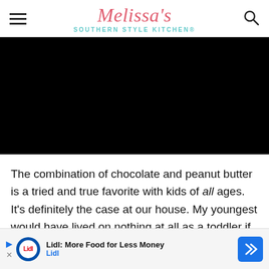Melissa's Southern Style Kitchen®
[Figure (photo): Black hero image area (video/image placeholder)]
The combination of chocolate and peanut butter is a tried and true favorite with kids of all ages. It's definitely the case at our house. My youngest would have lived on nothing at all as a toddler if it hadn't been for peanut butter. As a teena... will
[Figure (other): Lidl advertisement banner: 'Lidl: More Food for Less Money' with Lidl logo and navigation icon]